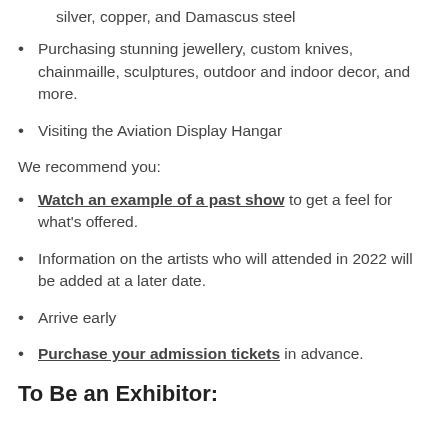silver, copper, and Damascus steel
Purchasing stunning jewellery, custom knives, chainmaille, sculptures, outdoor and indoor decor, and more.
Visiting the Aviation Display Hangar
We recommend you:
Watch an example of a past show to get a feel for what's offered.
Information on the artists who will attended in 2022 will be added at a later date.
Arrive early
Purchase your admission tickets in advance.
To Be an Exhibitor: